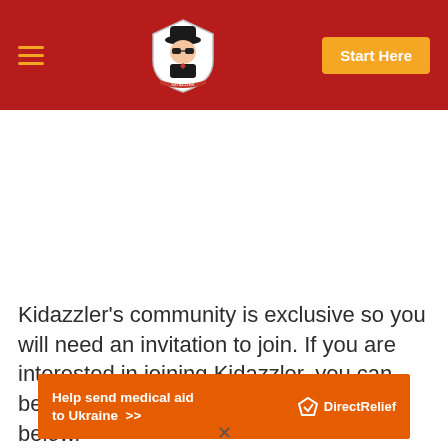Kidazzler navigation bar with hamburger menu, logo, and Start Here button
Kidazzler's community is exclusive so you will need an invitation to join. If you are interested in joining Kidazzler, you can become a member by following the link below.
[Figure (infographic): Orange advertisement banner: Help send medical aid to Ukraine >> with Direct Relief logo]
x